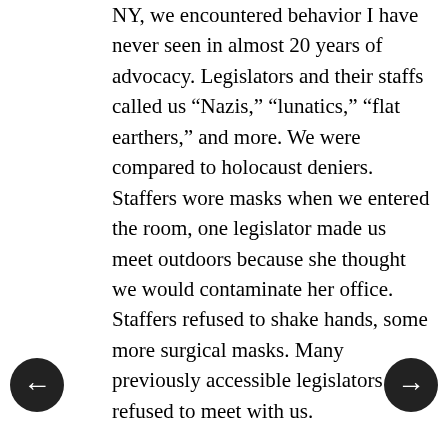NY, we encountered behavior I have never seen in almost 20 years of advocacy. Legislators and their staffs called us “Nazis,” “lunatics,” “flat earthers,” and more. We were compared to holocaust deniers. Staffers wore masks when we entered the room, one legislator made us meet outdoors because she thought we would contaminate her office. Staffers refused to shake hands, some more surgical masks. Many previously accessible legislators refused to meet with us.
Before you finish reading this article in you support the information and advocacy brought to you by the Autism Action Network please make it possible for us to keep doing our work by donation here https://grouprev.com/autismactionnetwork2